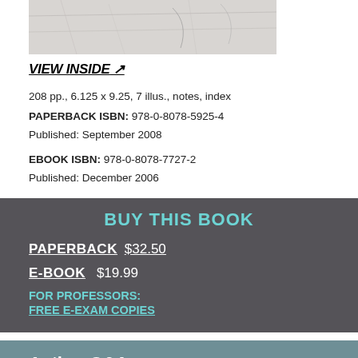[Figure (photo): Partial book cover image showing textured paper background, light gray/beige tones]
VIEW INSIDE ↗
208 pp., 6.125 x 9.25, 7 illus., notes, index
PAPERBACK ISBN: 978-0-8078-5925-4
Published: September 2008
EBOOK ISBN: 978-0-8078-7727-2
Published: December 2006
BUY THIS BOOK
PAPERBACK  $32.50
E-BOOK  $19.99
FOR PROFESSORS:
FREE E-EXAM COPIES
Author Q&A